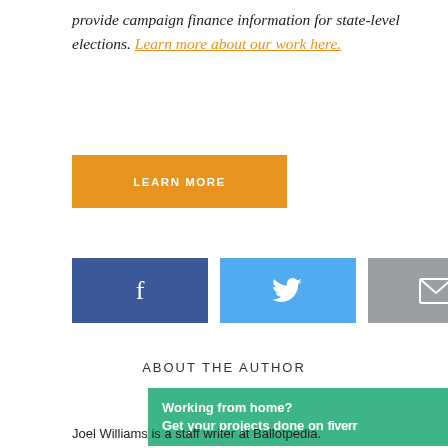provide campaign finance information for state-level elections. Learn more about our work here.
LEARN MORE
[Figure (infographic): Three social sharing buttons side by side: Facebook (dark blue, f icon), Twitter (light blue, bird icon), Email (gray, envelope icon)]
ABOUT THE AUTHOR
[Figure (infographic): Advertisement banner: Working from home? Get your projects done on fiverr, with Publift P icon and close button and headphone icon]
Joel Williams is a staff writer at Ballotpedia.